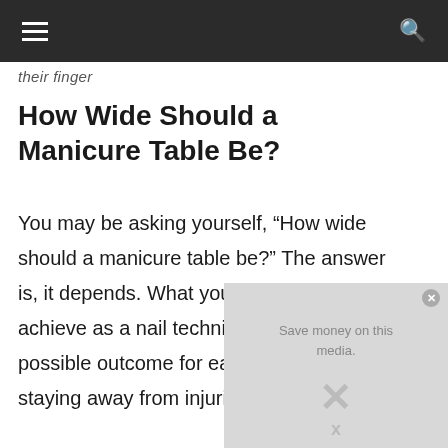≡  🔍
their finger
How Wide Should a Manicure Table Be?
You may be asking yourself, “How wide should a manicure table be?” The answer is, it depends. What you are trying to achieve as a nail technician is the best possible outcome for each nail, while also staying away from injuries as well as
[Figure (other): Advertisement overlay with close button (x) and media text]